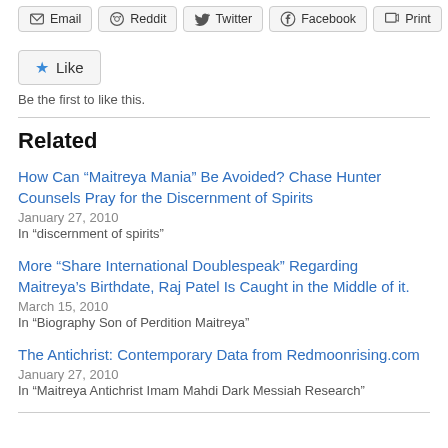[Figure (other): Social share buttons: Email, Reddit, Twitter, Facebook, Print]
[Figure (other): Like button with star icon]
Be the first to like this.
Related
How Can “Maitreya Mania” Be Avoided? Chase Hunter Counsels Pray for the Discernment of Spirits
January 27, 2010
In “discernment of spirits”
More “Share International Doublespeak” Regarding Maitreya’s Birthdate, Raj Patel Is Caught in the Middle of it.
March 15, 2010
In “Biography Son of Perdition Maitreya”
The Antichrist: Contemporary Data from Redmoonrising.com
January 27, 2010
In “Maitreya Antichrist Imam Mahdi Dark Messiah Research”